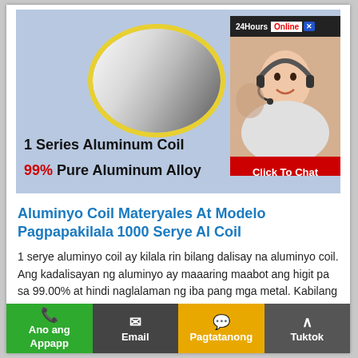[Figure (photo): Product banner showing aluminum coil in a yellow-bordered circle on light blue background, with '1 Series Aluminum Coil' and '99% Pure Aluminum Alloy' text, plus a customer service chat widget on the right with '24Hours Online' and 'Click To Chat' button]
Aluminyo Coil Materyales At Modelo Pagpapakilala 1000 Serye Al Coil
1 serye aluminyo coil ay kilala rin bilang dalisay na aluminyo coil. Ang kadalisayan ng aluminyo ay maaaring maabot ang higit pa sa 99.00% at hindi naglalaman ng iba pang mga metal. Kabilang sa lahat ng serye, ang 1000…
Ano ang Appapp | Email | Pagtatanong | Tuktok